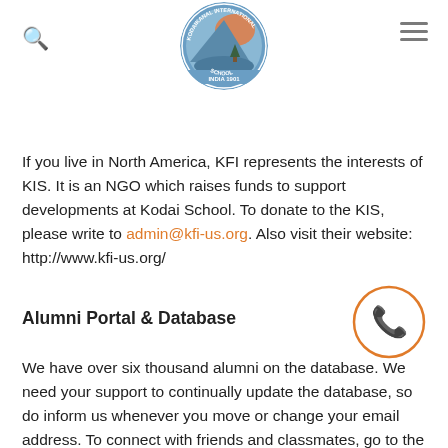Kodaikanal International School logo with search and menu icons
If you live in North America, KFI represents the interests of KIS. It is an NGO which raises funds to support developments at Kodai School. To donate to the KIS, please write to admin@kfi-us.org. Also visit their website: http://www.kfi-us.org/
[Figure (illustration): Orange phone/telephone icon inside an orange circle outline]
Alumni Portal & Database
We have over six thousand alumni on the database. We need your support to continually update the database, so do inform us whenever you move or change your email address. To connect with friends and classmates, go to the portal (www.alumni.kis.in) and sign in your username and password. If you do not have one, sign in your email address to request new password or write to alumni@kis.in for the same.